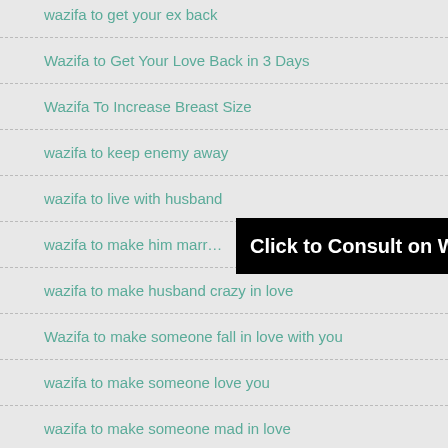wazifa to get your ex back
Wazifa to Get Your Love Back in 3 Days
Wazifa To Increase Breast Size
wazifa to keep enemy away
wazifa to live with husband
wazifa to make him marr…
wazifa to make husband crazy in love
Wazifa to make someone fall in love with you
wazifa to make someone love you
wazifa to make someone mad in love
Click to Consult on Whatsapp